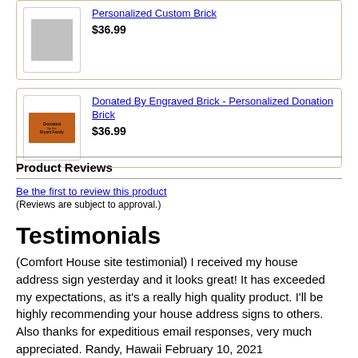[Figure (photo): Product card showing a grey placeholder image for a Personalized Custom Brick product at $36.99]
[Figure (photo): Product card showing an engraved orange/red brick with text 'Donated by the Bryant Family' for a Donated By Engraved Brick - Personalized Donation Brick product at $36.99]
Product Reviews
Be the first to review this product
(Reviews are subject to approval.)
Testimonials
(Comfort House site testimonial) I received my house address sign yesterday and it looks great! It has exceeded my expectations, as it's a really high quality product. I'll be highly recommending your house address signs to others. Also thanks for expeditious email responses, very much appreciated. Randy, Hawaii February 10, 2021